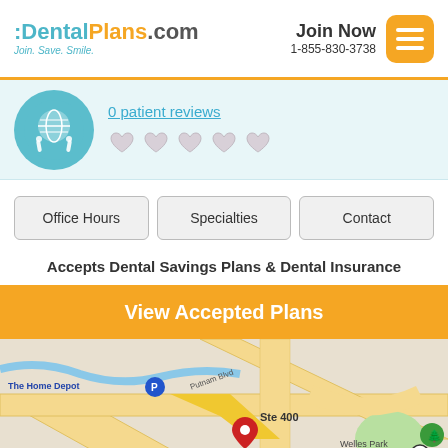DentalPlans.com - Join Now 1-855-830-3738
[Figure (screenshot): Dental office profile with doctor icon, 0 patient reviews link, and 5 empty heart-shaped rating stars on light blue background]
0 patient reviews
Office Hours
Specialties
Contact
Accepts Dental Savings Plans & Dental Insurance
View Accepted Plans
[Figure (map): Google Maps screenshot showing location near Putnam Blvd, Ste 400, with markers for The Home Depot, Hilton Garden Inn Hartford South, McDonald's, Welles Park, Maggie McFly's, Griswold St. Red pin at Ste 400.]